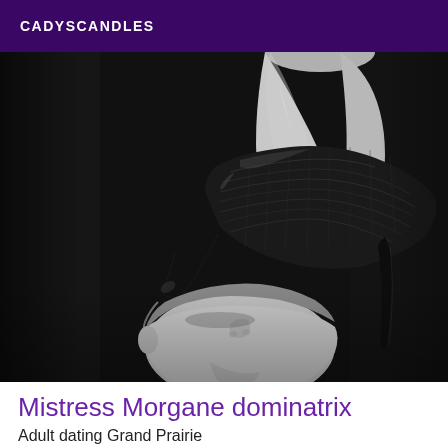CADYSCANDLES
[Figure (photo): Black and white photograph of a stiletto high-heel shoe being held against a person's face/neck from above, dramatic lighting against dark background]
Mistress Morgane dominatrix
Adult dating Grand Prairie